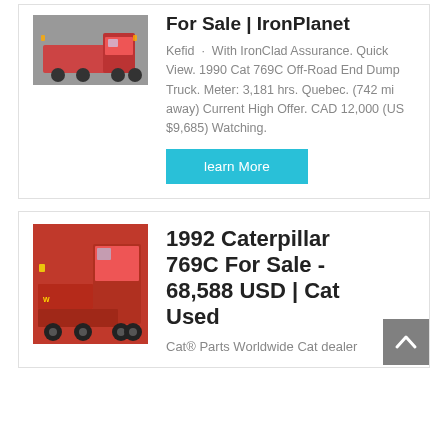[Figure (photo): Thumbnail image of a dump truck (top listing)]
For Sale | IronPlanet
Kefid · With IronClad Assurance. Quick View. 1990 Cat 769C Off-Road End Dump Truck. Meter: 3,181 hrs. Quebec. (742 mi away) Current High Offer. CAD 12,000 (US $9,685) Watching.
learn More
[Figure (photo): Thumbnail image of a red Caterpillar 769C dump truck (bottom listing)]
1992 Caterpillar 769C For Sale - 68,588 USD | Cat Used
Cat® Parts Worldwide Cat dealer